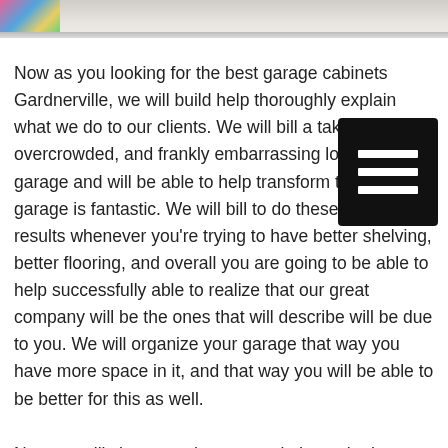[Figure (photo): Partial view of a photo showing colorful items on the left and what appears to be a light-colored surface or cabinet on the right, cropped at the top of the page.]
Now as you looking for the best garage cabinets Gardnerville, we will build help thoroughly explain what we do to our clients. We will bill a take a messy, overcrowded, and frankly embarrassing looking garage and will be able to help transform them into a garage is fantastic. We will bill to do these great results whenever you're trying to have better shelving, better flooring, and overall you are going to be able to help successfully able to realize that our great company will be the ones that will describe will be due to you. We will organize your garage that way you have more space in it, and that way you will be able to be better for this as well.
Now we will show you that we are in have the best garage cabinets Gardnerville that is going feel showing you that we will actually install those cabinets. This is going be fantastic because these great cabinet